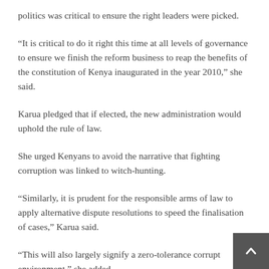politics was critical to ensure the right leaders were picked.
“It is critical to do it right this time at all levels of governance to ensure we finish the reform business to reap the benefits of the constitution of Kenya inaugurated in the year 2010,” she said.
Karua pledged that if elected, the new administration would uphold the rule of law.
She urged Kenyans to avoid the narrative that fighting corruption was linked to witch-hunting.
“Similarly, it is prudent for the responsible arms of law to apply alternative dispute resolutions to speed the finalisation of cases,” Karua said.
“This will also largely signify a zero-tolerance corrupt environment,” she added.